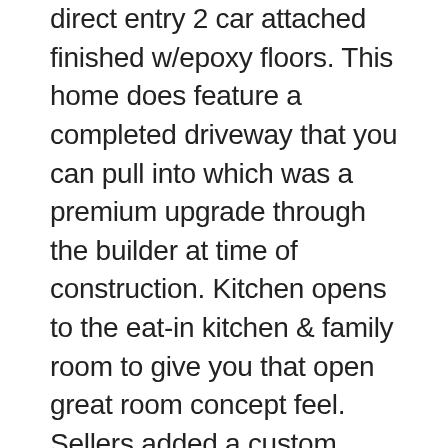direct entry 2 car attached finished w/epoxy floors. This home does feature a completed driveway that you can pull into which was a premium upgrade through the builder at time of construction. Kitchen opens to the eat-in kitchen & family room to give you that open great room concept feel. Sellers added a custom kitchen island with granite countertop & white subway title backsplash. Kitchen features stainless appliances. All bedrooms & 2 main bathrooms are situated upstairs. Master shower & downstairs powder room were also additional premium upgrades through the builder. Sellers have completed the side yard with artificial grass, citrus trees & canopy sun shad…enjoy the outdoors space. White interior sh…rs throughout for that